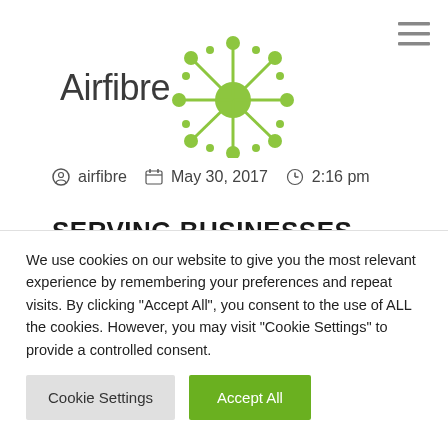[Figure (logo): Airfibre company logo with green starburst/dots icon and 'Airfibre' text]
airfibre   May 30, 2017   2:16 pm
SERVING BUSINESSES
Since 2000
We use cookies on our website to give you the most relevant experience by remembering your preferences and repeat visits. By clicking "Accept All", you consent to the use of ALL the cookies. However, you may visit "Cookie Settings" to provide a controlled consent.
Cookie Settings   Accept All